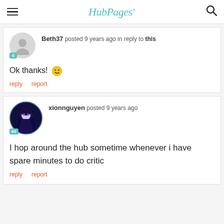HubPages
Beth37 posted 9 years ago in reply to this
Ok thanks! 🙂
reply   report
xionnguyen posted 9 years ago
I hop around the hub sometime whenever i have spare minutes to do critic
reply   report